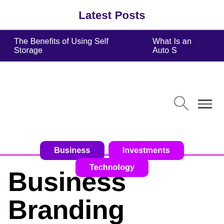Latest Posts
The Benefits of Using Self Storage    What Is an Auto S
Business    Investments    Technology
Business Branding